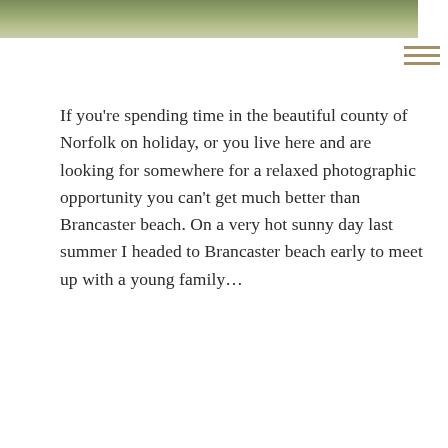[Figure (photo): Partial photo strip showing green grassy landscape at top of page]
If you're spending time in the beautiful county of Norfolk on holiday, or you live here and are looking for somewhere for a relaxed photographic opportunity you can't get much better than Brancaster beach. On a very hot sunny day last summer I headed to Brancaster beach early to meet up with a young family…
READ MORE →
NORTH NORFOLK FAMILY PHOTOGRAPHER: HOLKHAM